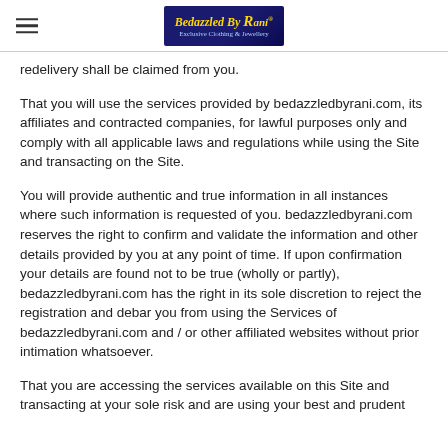Bedazzled By Rani — Exclusive Clothing & Jewellery [logo]
redelivery shall be claimed from you.
That you will use the services provided by bedazzledbyrani.com, its affiliates and contracted companies, for lawful purposes only and comply with all applicable laws and regulations while using the Site and transacting on the Site.
You will provide authentic and true information in all instances where such information is requested of you. bedazzledbyrani.com reserves the right to confirm and validate the information and other details provided by you at any point of time. If upon confirmation your details are found not to be true (wholly or partly), bedazzledbyrani.com has the right in its sole discretion to reject the registration and debar you from using the Services of bedazzledbyrani.com and / or other affiliated websites without prior intimation whatsoever.
That you are accessing the services available on this Site and transacting at your sole risk and are using your best and prudent